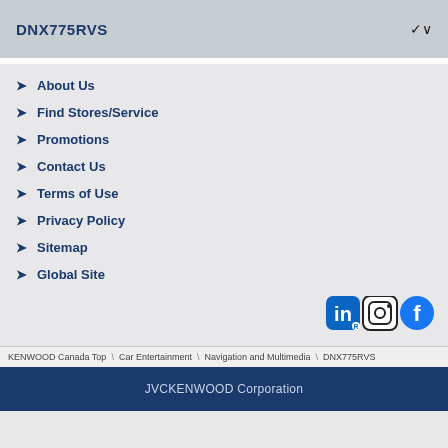DNX775RVS
About Us
Find Stores/Service
Promotions
Contact Us
Terms of Use
Privacy Policy
Sitemap
Global Site
[Figure (logo): LinkedIn, Instagram, and Facebook social media icons]
KENWOOD Canada Top \ Car Entertainment \ Navigation and Multimedia \ DNX775RVS
JVCKENWOOD Corporation